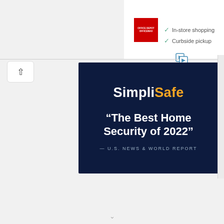[Figure (logo): Office Depot / OfficeMax red logo box]
✓ In-store shopping
✓ Curbside pickup
[Figure (screenshot): SimpliSafe advertisement banner on dark navy background with logo and quote: The Best Home Security of 2022 — U.S. News & World Report]